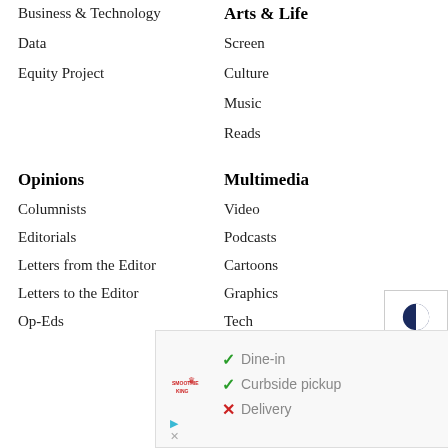Business & Technology
Data
Equity Project
Arts & Life
Screen
Culture
Music
Reads
Opinions
Multimedia
Columnists
Video
Editorials
Podcasts
Letters from the Editor
Cartoons
Letters to the Editor
Graphics
Op-Eds
Tech
[Figure (infographic): Advertisement banner showing Smoothie King logo with checkmarks for Dine-in and Curbside pickup, X for Delivery, and a blue navigation arrow icon]